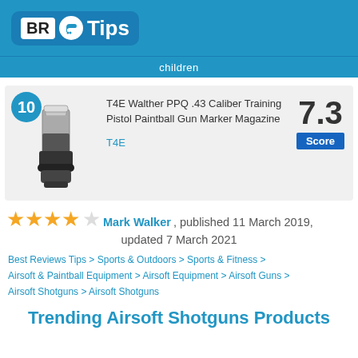BR Tips
children
[Figure (photo): T4E Walther PPQ .43 Caliber Training Pistol Paintball Gun Marker Magazine product image, shown as a black and silver pistol magazine.]
T4E Walther PPQ .43 Caliber Training Pistol Paintball Gun Marker Magazine
T4E
Score: 7.3
★★★★☆ Mark Walker, published 11 March 2019, updated 7 March 2021
Best Reviews Tips > Sports & Outdoors > Sports & Fitness > Airsoft & Paintball Equipment > Airsoft Equipment > Airsoft Guns > Airsoft Shotguns > Airsoft Shotguns
Trending Airsoft Shotguns Products